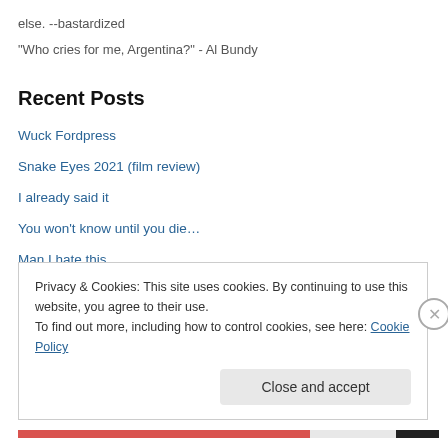else. --bastardized
"Who cries for me, Argentina?" - Al Bundy
Recent Posts
Wuck Fordpress
Snake Eyes 2021 (film review)
I already said it
You won’t know until you die…
Man I hate this
Privacy & Cookies: This site uses cookies. By continuing to use this website, you agree to their use.
To find out more, including how to control cookies, see here: Cookie Policy